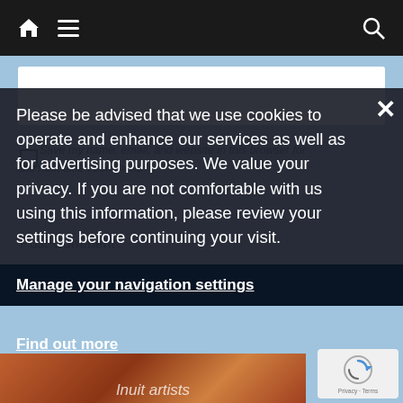Navigation bar with home icon, menu icon, and search icon
[Figure (screenshot): White input box area over light blue background]
Please be advised that we use cookies to operate and enhance our services as well as for advertising purposes. We value your privacy. If you are not comfortable with us using this information, please review your settings before continuing your visit.
Manage your navigation settings
Find out more
[Figure (illustration): Inuit artists artwork strip at bottom]